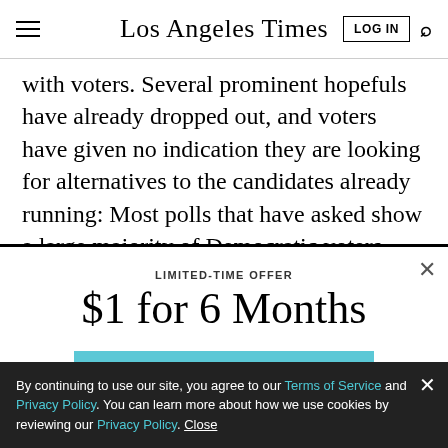Los Angeles Times
with voters. Several prominent hopefuls have already dropped out, and voters have given no indication they are looking for alternatives to the candidates already running: Most polls that have asked show a large majority of Democratic voters satisfied with their
LIMITED-TIME OFFER
$1 for 6 Months
SUBSCRIBE NOW
By continuing to use our site, you agree to our Terms of Service and Privacy Policy. You can learn more about how we use cookies by reviewing our Privacy Policy. Close